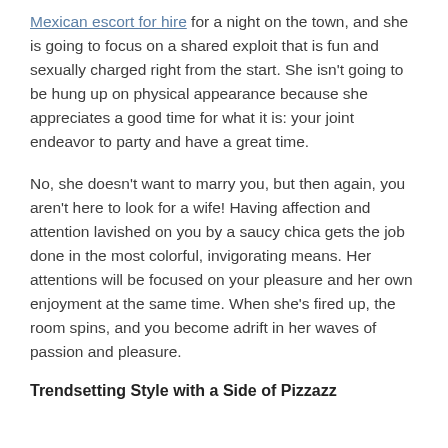Mexican escort for hire for a night on the town, and she is going to focus on a shared exploit that is fun and sexually charged right from the start. She isn't going to be hung up on physical appearance because she appreciates a good time for what it is: your joint endeavor to party and have a great time.
No, she doesn't want to marry you, but then again, you aren't here to look for a wife! Having affection and attention lavished on you by a saucy chica gets the job done in the most colorful, invigorating means. Her attentions will be focused on your pleasure and her own enjoyment at the same time. When she's fired up, the room spins, and you become adrift in her waves of passion and pleasure.
Trendsetting Style with a Side of Pizzazz